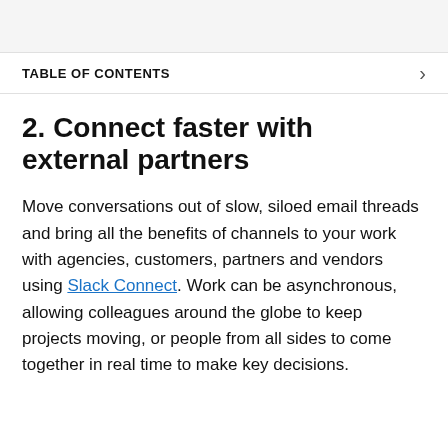2. Connect faster with external partners
Move conversations out of slow, siloed email threads and bring all the benefits of channels to your work with agencies, customers, partners and vendors using Slack Connect. Work can be asynchronous, allowing colleagues around the globe to keep projects moving, or people from all sides to come together in real time to make key decisions.